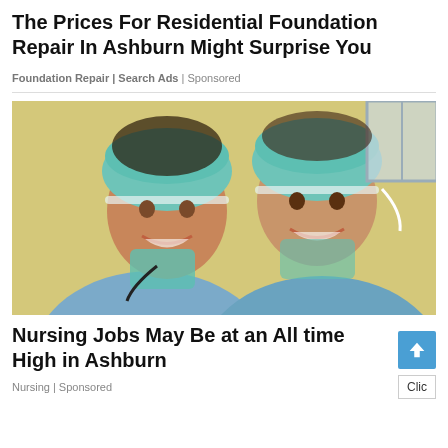The Prices For Residential Foundation Repair In Ashburn Might Surprise You
Foundation Repair | Search Ads | Sponsored
[Figure (photo): Two female nurses or doctors in surgical scrubs and teal surgical caps smiling at the camera]
Nursing Jobs May Be at an All time High in Ashburn
Nursing | Sponsored